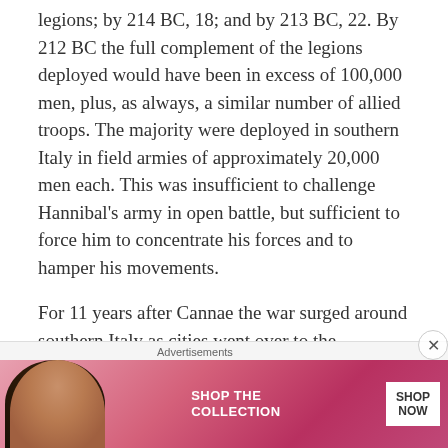legions; by 214 BC, 18; and by 213 BC, 22. By 212 BC the full complement of the legions deployed would have been in excess of 100,000 men, plus, as always, a similar number of allied troops. The majority were deployed in southern Italy in field armies of approximately 20,000 men each. This was insufficient to challenge Hannibal's army in open battle, but sufficient to force him to concentrate his forces and to hamper his movements.

For 11 years after Cannae the war surged around southern Italy as cities went over to the Carthaginians or were taken by subterfuge, and the Romans recaptured them by siege or by suborning
[Figure (other): Victoria's Secret advertisement banner showing a model with curly hair on the left, the VS logo in the center-left, 'SHOP THE COLLECTION' text in the middle, and a 'SHOP NOW' button on the right, on a pink/red gradient background.]